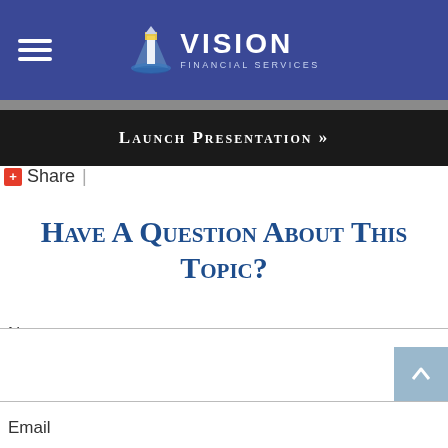Vision Financial Services
Launch Presentation »
+ Share |
Have A Question About This Topic?
Name
Email